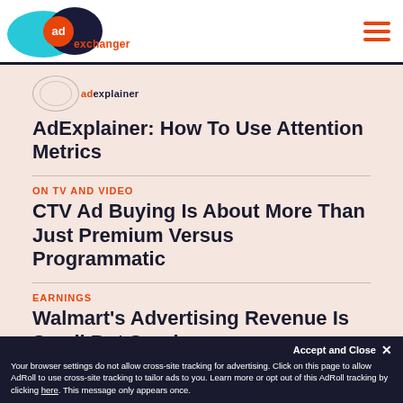AdExchanger
[Figure (logo): AdExplainer badge with oval outlines and ad text in orange]
AdExplainer: How To Use Attention Metrics
ON TV AND VIDEO
CTV Ad Buying Is About More Than Just Premium Versus Programmatic
EARNINGS
Walmart's Advertising Revenue Is Small But Soaring
Google Is Creating A Panel To Fastly...
Accept and Close ✕
Your browser settings do not allow cross-site tracking for advertising. Click on this page to allow AdRoll to use cross-site tracking to tailor ads to you. Learn more or opt out of this AdRoll tracking by clicking here. This message only appears once.